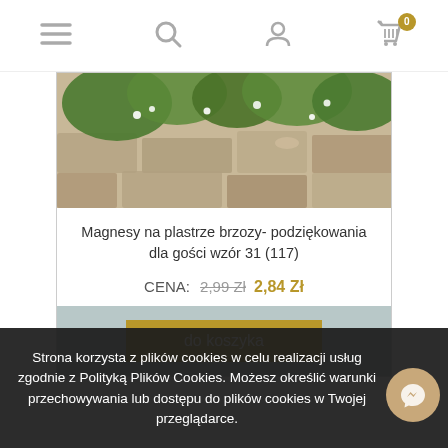Navigation bar with menu, search, user, and cart (0) icons
[Figure (photo): Close-up photo of green plants and white flowers growing over a rocky stone wall surface]
Magnesy na plastrze brzozy- podziękowania dla gości wzór 31 (117)
CENA: 2,99 Zł 2,84 Zł
do koszyka
Strona korzysta z plików cookies w celu realizacji usług zgodnie z Polityką Plików Cookies. Możesz określić warunki przechowywania lub dostępu do plików cookies w Twojej przeglądarce.